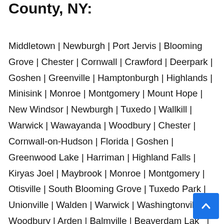County, NY:
Middletown | Newburgh | Port Jervis | Blooming Grove | Chester | Cornwall | Crawford | Deerpark | Goshen | Greenville | Hamptonburgh | Highlands | Minisink | Monroe | Montgomery | Mount Hope | New Windsor | Newburgh | Tuxedo | Wallkill | Warwick | Wawayanda | Woodbury | Chester | Cornwall-on-Hudson | Florida | Goshen | Greenwood Lake | Harriman | Highland Falls | Kiryas Joel | Maybrook | Monroe | Montgomery | Otisville | South Blooming Grove | Tuxedo Park | Unionville | Walden | Warwick | Washingtonville | Woodbury | Arden | Balmville | Beaverdam Lake | Salisbury Mills | Bullville | Central Valley | Circleville |